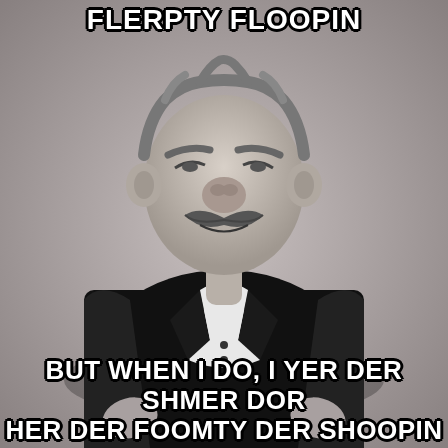[Figure (photo): Black and white photo of Swedish Chef Muppet character in formal tuxedo with bow tie, posed in a formal portrait style against a gray background]
FLERPTY FLOOPIN
BUT WHEN I DO, I YER DER SHMER DOR HER DER FOOMTY DER SHOOPIN